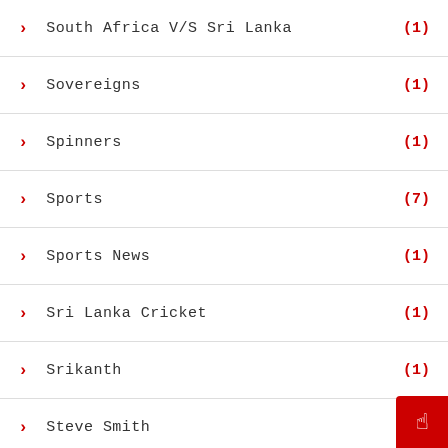South Africa V/S Sri Lanka (1)
Sovereigns (1)
Spinners (1)
Sports (7)
Sports News (1)
Sri Lanka Cricket (1)
Srikanth (1)
Steve Smith (1)
Sudirman Cup 2019 (1)
Suspended Thierry Henry (1)
Svitolina (1)